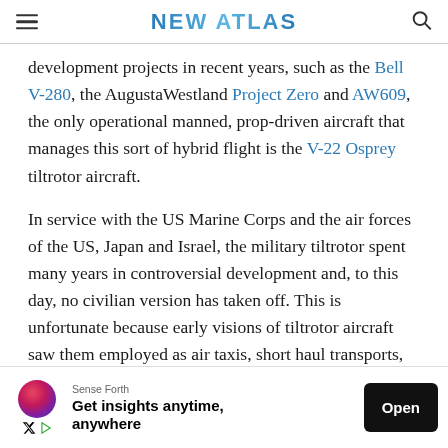NEW ATLAS
development projects in recent years, such as the Bell V-280, the AugustaWestland Project Zero and AW609, the only operational manned, prop-driven aircraft that manages this sort of hybrid flight is the V-22 Osprey tiltrotor aircraft.
In service with the US Marine Corps and the air forces of the US, Japan and Israel, the military tiltrotor spent many years in controversial development and, to this day, no civilian version has taken off. This is unfortunate because early visions of tiltrotor aircraft saw them employed as air taxis, short haul transports, and in other civilian applications
[Figure (other): Advertisement banner: Sense Forth - Get insights anytime, anywhere. Open button on right.]